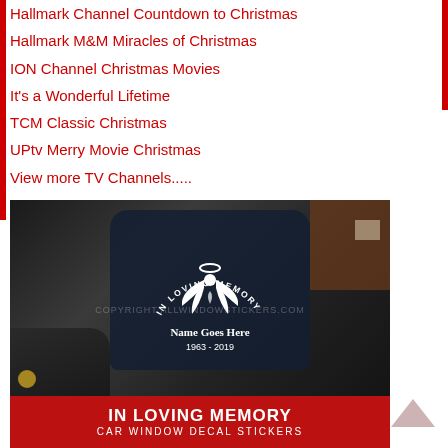Hallmark Channel Countdown to Christmas
Hallmark M&M Miracles of Christmas
ION Channel Christmas Movies
It's a Wonderful Lifetime
TCM Classic Christmas
UPtv Merry Movie Christmas
View more TV Channels.....
[Figure (photo): Photo of the rear window of a dark car with a white 'In Loving Memory Of' decal sticker showing angel wings, reading 'Name Goes Here 1963 - 2019'. Below the photo is a red banner reading 'IN LOVING MEMORY CAR WINDOW DECAL STICKERS'.]